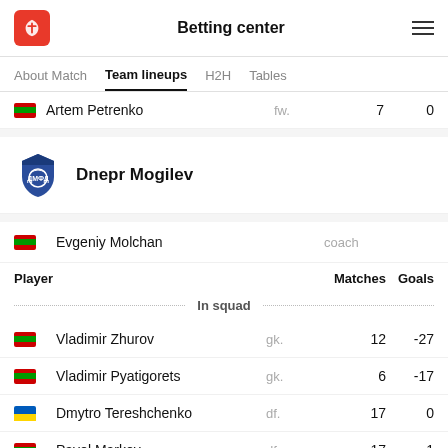Betting center
About Match  Team lineups  H2H  Tables
Artem Petrenko  fw.  7  0
Dnepr Mogilev
Evgeniy Molchan  coach
| Player |  | Matches | Goals |
| --- | --- | --- | --- |
| Vladimir Zhurov | gk. | 12 | -27 |
| Vladimir Pyatigorets | gk. | 6 | -17 |
| Dmytro Tereshchenko | df. | 17 | 0 |
| Pavel Markov | df. | 17 | 1 |